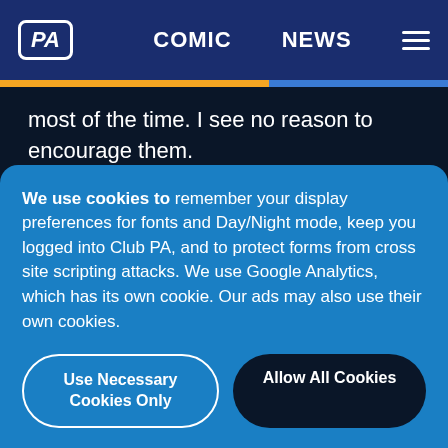PA | COMIC | NEWS
most of the time. I see no reason to encourage them.
...And I'm all out of
We use cookies to remember your display preferences for fonts and Day/Night mode, keep you logged into Club PA, and to protect forms from cross site scripting attacks. We use Google Analytics, which has its own cookie. Our ads may also use their own cookies.
Use Necessary Cookies Only
Allow All Cookies